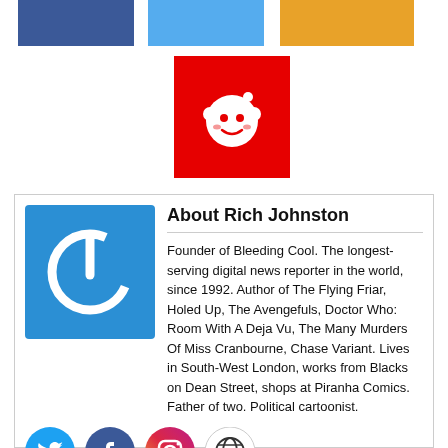[Figure (infographic): Social share buttons: Facebook (dark blue), Twitter/share (light blue), Reddit/share (orange) and Reddit icon (red square with white Reddit alien mascot)]
[Figure (illustration): About Rich Johnston author box with blue power button avatar icon, bold title 'About Rich Johnston', horizontal rule, biography text, and social media icons (Twitter, Facebook, Instagram, globe) at bottom]
About Rich Johnston
Founder of Bleeding Cool. The longest-serving digital news reporter in the world, since 1992. Author of The Flying Friar, Holed Up, The Avengefuls, Doctor Who: Room With A Deja Vu, The Many Murders Of Miss Cranbourne, Chase Variant. Lives in South-West London, works from Blacks on Dean Street, shops at Piranha Comics. Father of two. Political cartoonist.